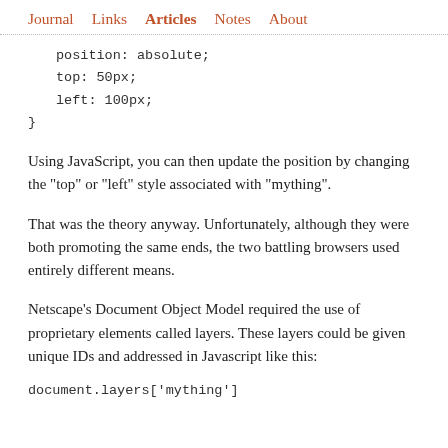Journal  Links  Articles  Notes  About
position: absolute;
    top: 50px;
    left: 100px;
}
Using JavaScript, you can then update the position by changing the "top" or "left" style associated with "mything".
That was the theory anyway. Unfortunately, although they were both promoting the same ends, the two battling browsers used entirely different means.
Netscape's Document Object Model required the use of proprietary elements called layers. These layers could be given unique IDs and addressed in Javascript like this:
document.layers['mything']